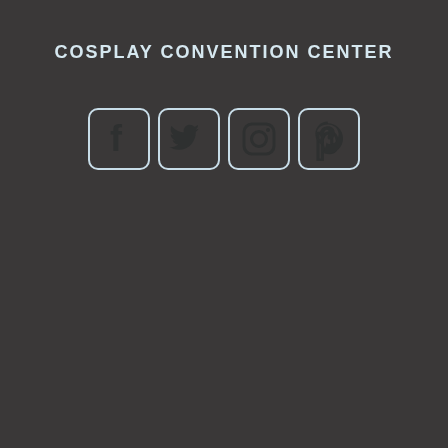COSPLAY CONVENTION CENTER
[Figure (infographic): Four social media icons in rounded square outlines: Facebook (f), Twitter (bird), Instagram (camera), Pinterest (P)]